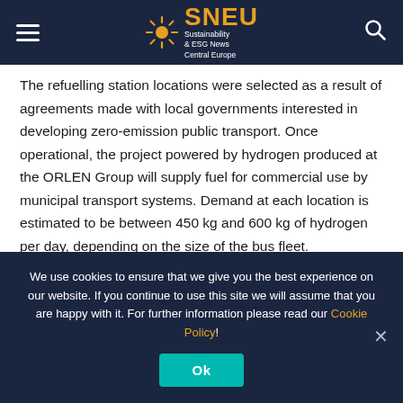SNEU Sustainability & ESG News Central Europe
The refuelling station locations were selected as a result of agreements made with local governments interested in developing zero-emission public transport. Once operational, the project powered by hydrogen produced at the ORLEN Group will supply fuel for commercial use by municipal transport systems. Demand at each location is estimated to be between 450 kg and 600 kg of hydrogen per day, depending on the size of the bus fleet.
The hydrogen refuelling points will be located at the existing
We use cookies to ensure that we give you the best experience on our website. If you continue to use this site we will assume that you are happy with it. For further information please read our Cookie Policy!